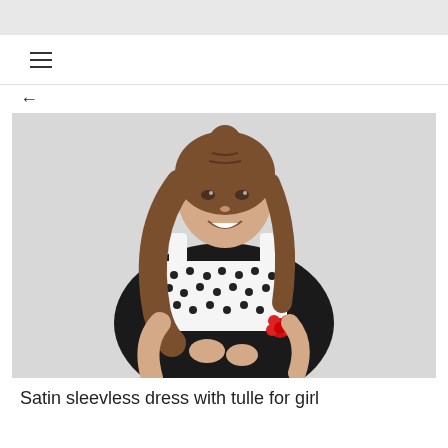[Figure (photo): A young girl smiling, wearing a sleeveless dress with a white polka-dot top and black tulle skirt, with a red flower accent at the waist. She has long brown hair with a bun on top. The background is light gray.]
Satin sleevless dress with tulle for girl